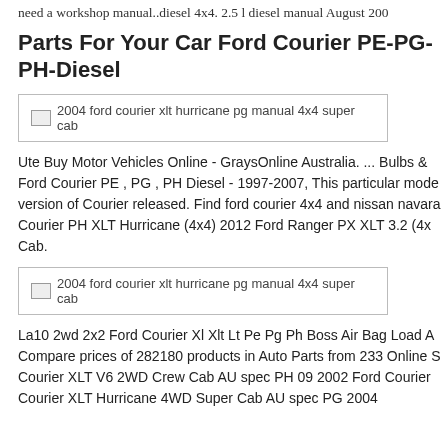need a workshop manual..diesel 4x4. 2.5 l diesel manual August 200
Parts For Your Car Ford Courier PE-PG-PH-Diesel
[Figure (photo): Broken image placeholder for: 2004 ford courier xlt hurricane pg manual 4x4 super cab]
Ute Buy Motor Vehicles Online - GraysOnline Australia. ... Bulbs & Ford Courier PE , PG , PH Diesel - 1997-2007, This particular mode version of Courier released. Find ford courier 4x4 and nissan navara Courier PH XLT Hurricane (4x4) 2012 Ford Ranger PX XLT 3.2 (4x Cab.
[Figure (photo): Broken image placeholder for: 2004 ford courier xlt hurricane pg manual 4x4 super cab]
La10 2wd 2x2 Ford Courier Xl Xlt Lt Pe Pg Ph Boss Air Bag Load A Compare prices of 282180 products in Auto Parts from 233 Online S Courier XLT V6 2WD Crew Cab AU spec PH 09 2002 Ford Courier Courier XLT Hurricane 4WD Super Cab AU spec PG 2004